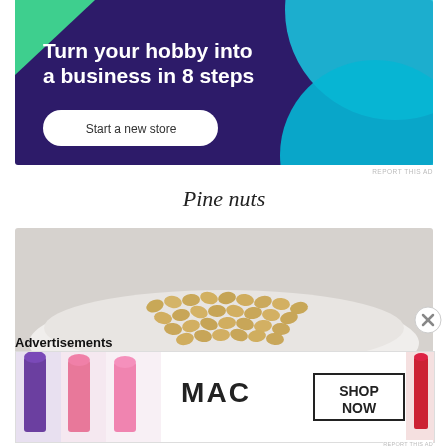[Figure (infographic): Advertisement banner with dark purple background, teal and green geometric shapes, bold white text 'Turn your hobby into a business in 8 steps' and a white 'Start a new store' button]
REPORT THIS AD
Pine nuts
[Figure (photo): Close-up photo of pine nuts in a white bowl on a gray background]
Advertisements
[Figure (infographic): MAC cosmetics advertisement showing colorful lipsticks and the text 'SHOP NOW']